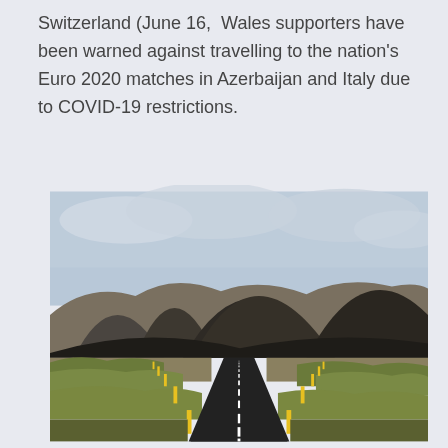Switzerland (June 16, Wales supporters have been warned against travelling to the nation's Euro 2020 matches in Azerbaijan and Italy due to COVID-19 restrictions.
[Figure (photo): A straight road stretching into the distance towards dark volcanic mountains under a cloudy sky, with yellow roadside markers on both sides and green/golden grassland flanking the road.]